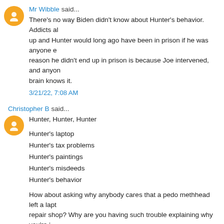Mr Wibble said...
There's no way Biden didn't know about Hunter's behavior. Addicts al up and Hunter would long ago have been in prison if he was anyone e reason he didn't end up in prison is because Joe intervened, and anyon brain knows it.
3/21/22, 7:08 AM
Christopher B said...
Hunter, Hunter, Hunter
Hunter's laptop
Hunter's tax problems
Hunter's paintings
Hunter's misdeeds
Hunter's behavior
How about asking why anybody cares that a pedo methhead left a lapt repair shop? Why are you having such trouble explaining why you're i story, if there isn't one?